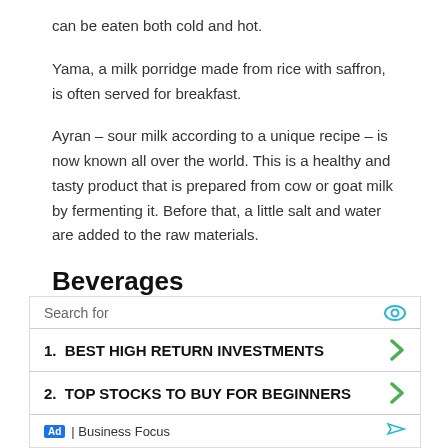can be eaten both cold and hot.
Yama, a milk porridge made from rice with saffron, is often served for breakfast.
Ayran – sour milk according to a unique recipe – is now known all over the world. This is a healthy and tasty product that is prepared from cow or goat milk by fermenting it. Before that, a little salt and water are added to the raw materials.
Beverages
It is impossible to imagine a feast in Azerbaijan without the famous sherbet. To prepare it in the traditional ancient way, the culinary
[Figure (other): Advertisement box with search for label, two items: 1. BEST HIGH RETURN INVESTMENTS, 2. TOP STOCKS TO BUY FOR BEGINNERS, footer with Ad badge and Business Focus label]